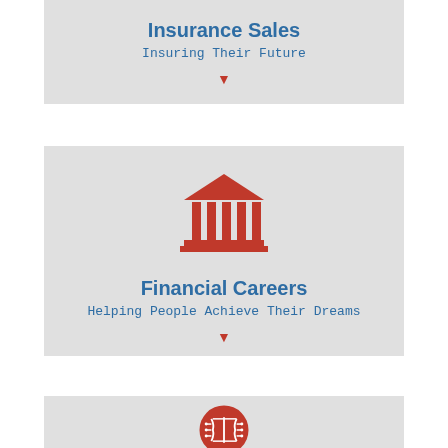Insurance Sales
Insuring Their Future
[Figure (infographic): Red downward arrow indicator]
[Figure (illustration): Red bank/financial institution icon with columns and roof]
Financial Careers
Helping People Achieve Their Dreams
[Figure (infographic): Red downward arrow indicator]
[Figure (illustration): Red circuit brain technology icon circle]